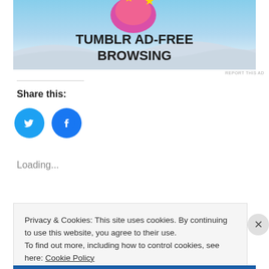[Figure (illustration): Tumblr ad banner showing 'TUMBLR AD-FREE BROWSING' text with a pink blob character and blue sky background]
REPORT THIS AD
Share this:
[Figure (illustration): Twitter and Facebook social share buttons (circular blue icons)]
Loading...
Privacy & Cookies: This site uses cookies. By continuing to use this website, you agree to their use.
To find out more, including how to control cookies, see here: Cookie Policy
Close and accept